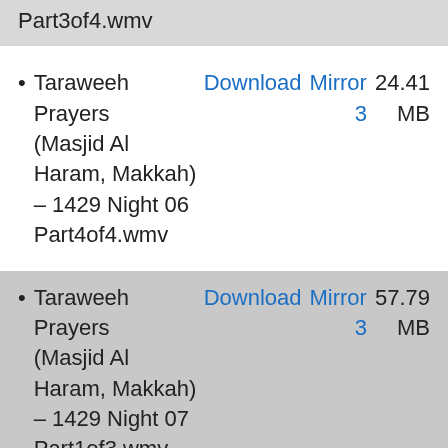Part3of4.wmv
Taraweeh Prayers (Masjid Al Haram, Makkah) – 1429 Night 06 Part4of4.wmv  Download  Mirror 3  24.41 MB
Taraweeh Prayers (Masjid Al Haram, Makkah) – 1429 Night 07 Part1of3.wmv  Download  Mirror 3  57.79 MB
Taraweeh Prayers (Masjid Al Haram, Makkah) – 1429 Night 07 Part2of3.wmv  Download  Mirror 3  46.06 MB
Taraweeh Prayers (Masjid Al Haram, Makkah)  Download  Mirror  45.31...